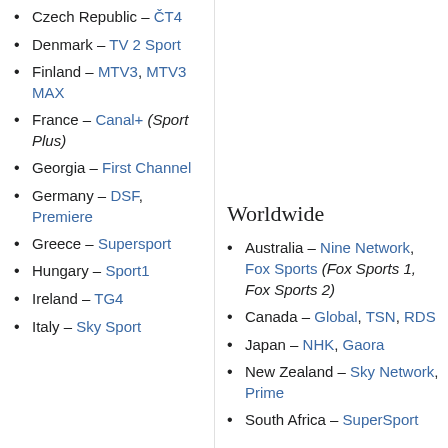Czech Republic – ČT4
Denmark – TV 2 Sport
Finland – MTV3, MTV3 MAX
France – Canal+ (Sport Plus)
Georgia – First Channel
Germany – DSF, Premiere
Greece – Supersport
Hungary – Sport1
Ireland – TG4
Italy – Sky Sport
Worldwide
Australia – Nine Network, Fox Sports (Fox Sports 1, Fox Sports 2)
Canada – Global, TSN, RDS
Japan – NHK, Gaora
New Zealand – Sky Network, Prime
South Africa – SuperSport